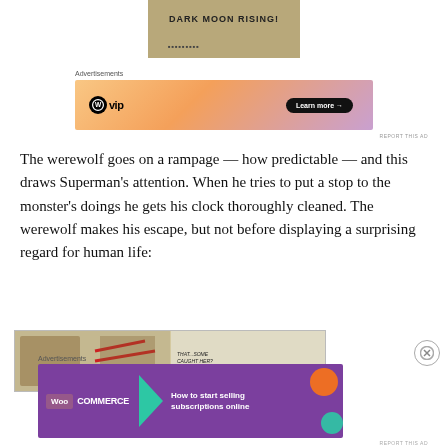[Figure (illustration): Comic book cover showing 'Dark Moon Rising' title text over an illustrated scene]
Advertisements
[Figure (other): WordPress VIP advertisement banner with orange/peach gradient background, WP logo, 'vip' text, and 'Learn more →' button]
REPORT THIS AD
The werewolf goes on a rampage — how predictable — and this draws Superman's attention. When he tries to put a stop to the monster's doings he gets his clock thoroughly cleaned. The werewolf makes his escape, but not before displaying a surprising regard for human life:
[Figure (illustration): Comic book panel showing Superman and text bubbles: 'THAT...SOME CAUGHT HER?' 'DON'T KNOW WHY, BUT AT LEAST NOW I...']
Advertisements
[Figure (other): WooCommerce advertisement banner with purple background, teal arrow, and text 'How to start selling subscriptions online']
REPORT THIS AD